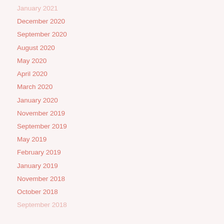January 2021
December 2020
September 2020
August 2020
May 2020
April 2020
March 2020
January 2020
November 2019
September 2019
May 2019
February 2019
January 2019
November 2018
October 2018
September 2018